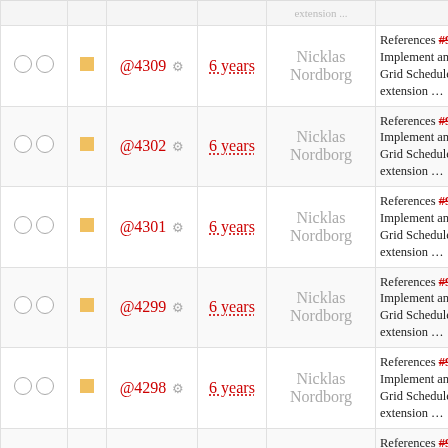|  |  | ID | Age | User | Description |
| --- | --- | --- | --- | --- | --- |
|  |  | @4309 | 6 years | Nicklas Nordborg | References #904: Implement an Open Grid Scheduler service extension … |
|  |  | @4302 | 6 years | Nicklas Nordborg | References #904: Implement an Open Grid Scheduler service extension … |
|  |  | @4301 | 6 years | Nicklas Nordborg | References #904: Implement an Open Grid Scheduler service extension … |
|  |  | @4299 | 6 years | Nicklas Nordborg | References #904: Implement an Open Grid Scheduler service extension … |
|  |  | @4298 | 6 years | Nicklas Nordborg | References #904: Implement an Open Grid Scheduler service extension … |
|  |  | @4297 | 6 years | Nicklas Nordborg | References #904: Implement an Open Grid Scheduler service extension … |
|  |  | @4296 | 6 years | Nicklas Nordborg | References #904: Implement an Open Grid Scheduler service extension … |
|  |  | @4294 | 6 years | Nicklas Nordborg | References #904: Implement an Open Grid Scheduler service extension … |